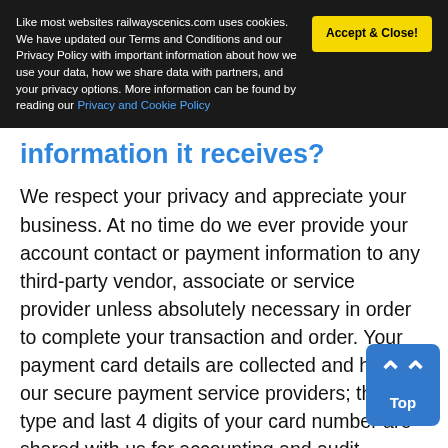Like most websites railwayscenics.com uses cookies. We have updated our Terms and Conditions and our Privacy Policy with important information about how we use your data, how we share data with partners, and your privacy options. More information can be found by reading our Privacy and Cookie Policy
information it receives?
We respect your privacy and appreciate your business. At no time do we ever provide your account contact or payment information to any third-party vendor, associate or service provider unless absolutely necessary in order to complete your transaction and order. Your payment card details are collected and held by our secure payment service providers; the card type and last 4 digits of your card number are shared with us for accounting and audit purposes.